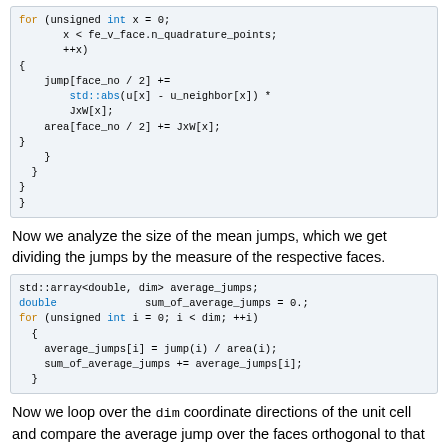[Figure (screenshot): Code block showing a for loop with jump and area accumulation logic in C++]
Now we analyze the size of the mean jumps, which we get dividing the jumps by the measure of the respective faces.
[Figure (screenshot): Code block declaring std::array<double, dim> average_jumps, double sum_of_average_jumps = 0., and a for loop computing average_jumps[i] = jump(i) / area(i) and sum_of_average_jumps += average_jumps[i].]
Now we loop over the dim coordinate directions of the unit cell and compare the average jump over the faces orthogonal to that direction with the average jumps over faces orthogonal to the remaining direction(s). If the first is larger than the latter by a given